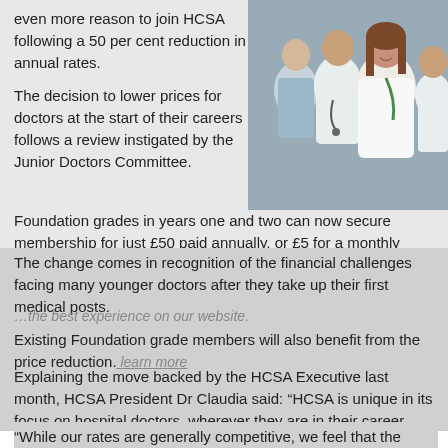even more reason to join HCSA following a 50 per cent reduction in annual rates.
The decision to lower prices for doctors at the start of their careers follows a review instigated by the Junior Doctors Committee.
[Figure (photo): Group of smiling medical professionals in white coats and scrubs]
Foundation grades in years one and two can now secure membership for just £50 paid annually, or £5 for a monthly payment.
The change comes in recognition of the financial challenges facing many younger doctors after they take up their first medical posts.
...the best experience on our website.
Existing Foundation grade members will also benefit from the price reduction.
learn more
Explaining the move backed by the HCSA Executive last month, HCSA President Dr Claudia said: “HCSA is unique in its focus on hospital doctors, wherever they are in their career.
“While our rates are generally competitive, we feel that the decision to